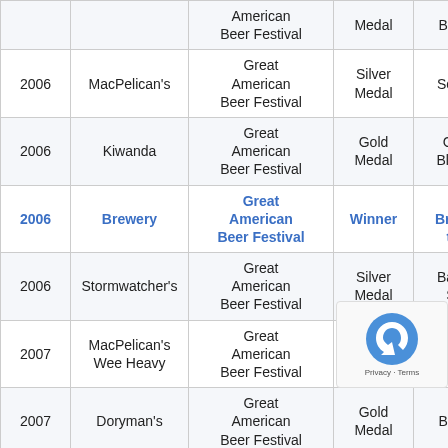| Year | Beer | Competition | Award | Category |
| --- | --- | --- | --- | --- |
|  |  | Great American Beer Festival | Medal | Brown Ales |
| 2006 | MacPelican's | Great American Beer Festival | Silver Medal | Scottish Ale |
| 2006 | Kiwanda | Great American Beer Festival | Gold Medal | Golden or Blonde Ales |
| 2006 | Brewery | Great American Beer Festival | Winner | Large Brewpub of the Year |
| 2006 | Stormwatcher's | Great American Beer Festival | Silver Medal | Barleywine-Style Ale |
| 2007 | MacPelican's Wee Heavy | Great American Beer Festival | Gold Medal | Strong Scotch Ales |
| 2007 | Doryman's | Great American Beer Festival | Gold Medal | Brown Ales |